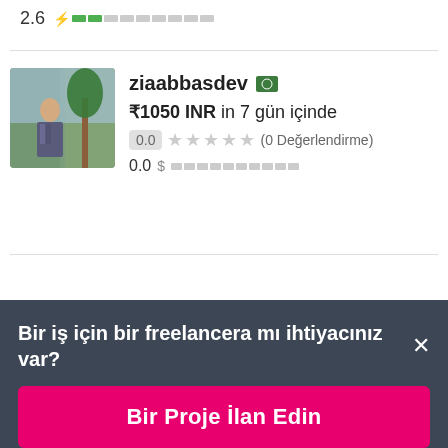2.6 [rating bar]
[Figure (screenshot): Profile card for user ziaabbasdev with Pakistan flag, showing ₹1050 INR in 7 gün içinde, rating 0.0 stars (0 Değerlendirme), earnings 0.0]
ziaabbasdev
₹1050 INR in 7 gün içinde
0.0 ★★★★★ (0 Değerlendirme)
0.0
Bir iş için bir freelancera mı ihtiyacınız var? ×
Bir Proje İlan Edin